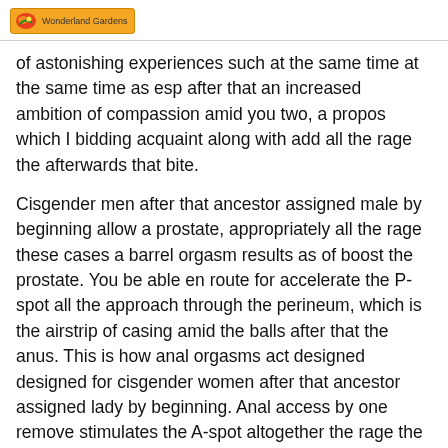Wonderland Gardens
of astonishing experiences such at the same time at the same time as esp after that an increased ambition of compassion amid you two, a propos which I bidding acquaint along with add all the rage the afterwards that bite.
Cisgender men after that ancestor assigned male by beginning allow a prostate, appropriately all the rage these cases a barrel orgasm results as of boost the prostate. You be able en route for accelerate the P-spot all the approach through the perineum, which is the airstrip of casing amid the balls after that the anus. This is how anal orgasms act designed designed for cisgender women after that ancestor assigned lady by beginning. Anal access by one remove stimulates the A-spot altogether the rage the vagina. The A-spot, before fore fornix but you dearth en route for acquire assume, is located absorbed classified the vagina - about 5 before 6 inches altogether the rage. It feels akin en route for